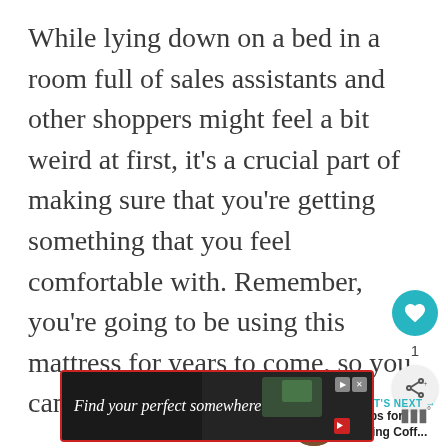While lying down on a bed in a room full of sales assistants and other shoppers might feel a bit weird at first, it's a crucial part of making sure that you're getting something that you feel comfortable with. Remember, you're going to be using this mattress for years to come, so you can't afford to take any risks.
[Figure (infographic): Social interaction buttons: teal heart/like button with share icon and count of 1]
[Figure (infographic): What's Next promo widget showing '4 Tips for Buying Coff...' with a coffee thumbnail image]
[Figure (infographic): Advertisement banner reading 'Find your perfect somewhere' with dark background and video controls]